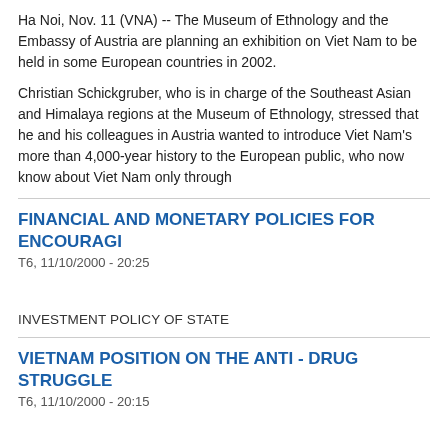Ha Noi, Nov. 11 (VNA) -- The Museum of Ethnology and the Embassy of Austria are planning an exhibition on Viet Nam to be held in some European countries in 2002.
Christian Schickgruber, who is in charge of the Southeast Asian and Himalaya regions at the Museum of Ethnology, stressed that he and his colleagues in Austria wanted to introduce Viet Nam's more than 4,000-year history to the European public, who now know about Viet Nam only thr...
FINANCIAL AND MONETARY POLICIES FOR ENCOURAGING...
T6, 11/10/2000 - 20:25
INVESTMENT POLICY OF STATE
VIETNAM POSITION ON THE ANTI - DRUG STRUGGLE
T6, 11/10/2000 - 20:15
ANSWERS BY MOFA'S SPOKESPERSON PHAN THUY THANH
TO FOREIGN CORRESPONDENTS ON NOV.3, 2000
AFP: In a letter by President Bill Clinton to US Congress, it is written that Viet Nam is one of the major drug-transit countries. What is Viet Nam's reaction thereto?